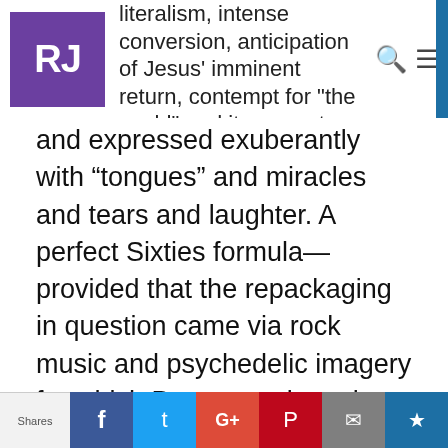RJ | literalism, intense conversion, anticipation of Jesus' imminent return, contempt for 'the world' and its corrupt morals
and expressed exuberantly with “tongues” and miracles and tears and laughter. A perfect Sixties formula—provided that the repackaging in question came via rock music and psychedelic imagery for which Pentecostals to date had expressed nothing but loathing. Here the vital cultural conversion took place. A few neo-Pentecostals—a Chuck Smith, for
Privacy & Cookies: This site uses cookies. By continuing to use this website, you agree to their use.
To find out more, including how to control cookies, see here: Cookie Policy
Close and accept
Shares | f | t | G+ | P | ✉ | ★